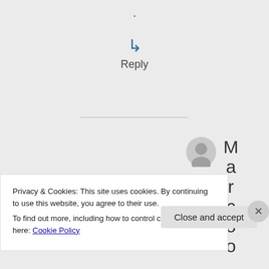.
Reply
[Figure (illustration): Gray circle avatar/profile icon]
M a r c o o
Privacy & Cookies: This site uses cookies. By continuing to use this website, you agree to their use.
To find out more, including how to control cookies, see here: Cookie Policy
Close and accept